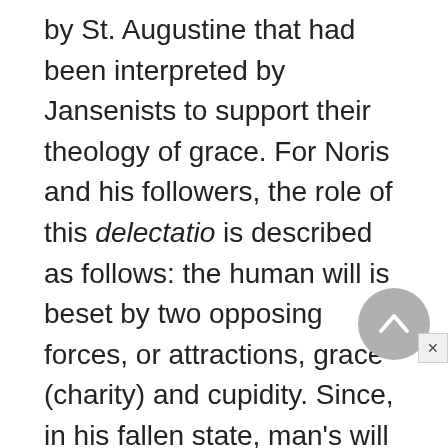by St. Augustine that had been interpreted by Jansenists to support their theology of grace. For Noris and his followers, the role of this delectatio is described as follows: the human will is beset by two opposing forces, or attractions, grace (charity) and cupidity. Since, in his fallen state, man's will follows the stronger attraction, it is only when grace is the more powerful that it efficaciously produces its effect. Yet as Berti insists, the will responds to this attraction not